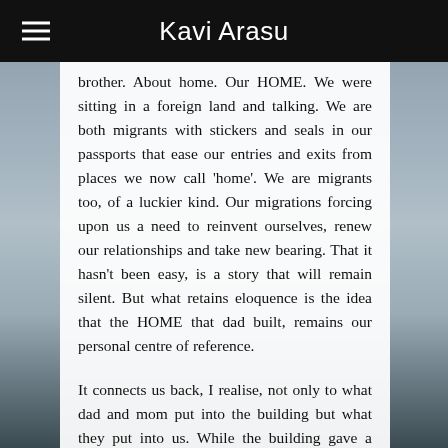Kavi Arasu
brother. About home. Our HOME. We were sitting in a foreign land and talking. We are both migrants with stickers and seals in our passports that ease our entries and exits from places we now call 'home'. We are migrants too, of a luckier kind. Our migrations forcing upon us a need to reinvent ourselves, renew our relationships and take new bearing. That it hasn't been easy, is a story that will remain silent. But what retains eloquence is the idea that the HOME that dad built, remains our personal centre of reference.
It connects us back, I realise, not only to what dad and mom put into the building but what they put into us. While the building gave a dimension of physical space and comfort, the